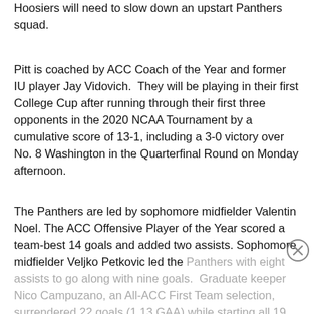Hoosiers will need to slow down an upstart Panthers squad.
Pitt is coached by ACC Coach of the Year and former IU player Jay Vidovich.  They will be playing in their first College Cup after running through their first three opponents in the 2020 NCAA Tournament by a cumulative score of 13-1, including a 3-0 victory over No. 8 Washington in the Quarterfinal Round on Monday afternoon.
The Panthers are led by sophomore midfielder Valentin Noel. The ACC Offensive Player of the Year scored a team-best 14 goals and added two assists. Sophomore midfielder Veljko Petkovic led the Panthers with eight assists to go along with nine goals.  Graduate keeper Nico Campuzano, an All-ACC First Team selection, surrendered 22 goals (1.13 GAA) while starting all 19 matches this season. He has 65 saves and (0.747 save percentage) to go along with